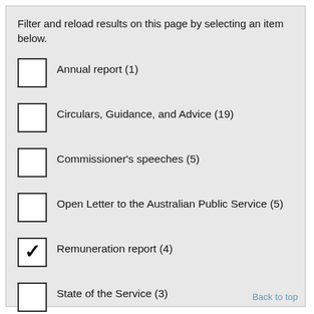Filter and reload results on this page by selecting an item below.
Annual report (1)
Circulars, Guidance, and Advice (19)
Commissioner's speeches (5)
Open Letter to the Australian Public Service (5)
Remuneration report (4)
State of the Service (3)
Back to top